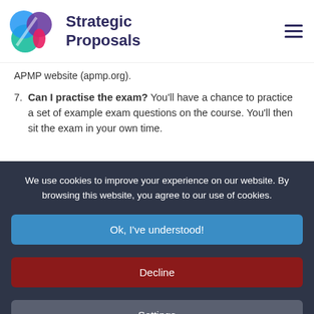Strategic Proposals
APMP website (apmp.org).
7. Can I practise the exam? You'll have a chance to practice a set of example exam questions on the course. You'll then sit the exam in your own time.
We use cookies to improve your experience on our website. By browsing this website, you agree to our use of cookies.
Ok, I've understood!
Decline
Settings
More Info